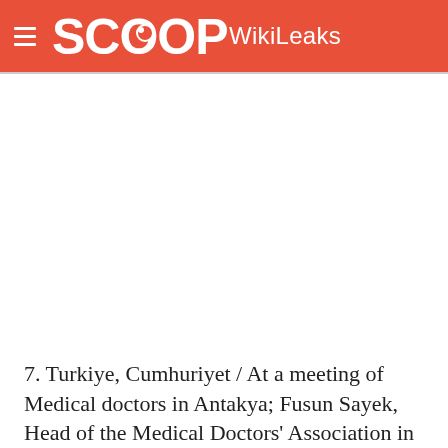SCOOP WikiLeaks
[Figure (photo): Blank white image area, placeholder for a photo]
7. Turkiye, Cumhuriyet / At a meeting of Medical doctors in Antakya; Fusun Sayek, Head of the Medical Doctors' Association in